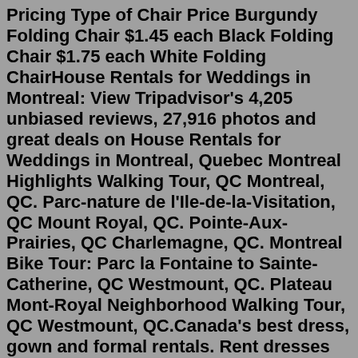Pricing Type of Chair Price Burgundy Folding Chair $1.45 each Black Folding Chair $1.75 each White Folding ChairHouse Rentals for Weddings in Montreal: View Tripadvisor's 4,205 unbiased reviews, 27,916 photos and great deals on House Rentals for Weddings in Montreal, Quebec Montreal Highlights Walking Tour, QC Montreal, QC. Parc-nature de l'Ile-de-la-Visitation, QC Mount Royal, QC. Pointe-Aux-Prairies, QC Charlemagne, QC. Montreal Bike Tour: Parc la Fontaine to Sainte-Catherine, QC Westmount, QC. Plateau Mont-Royal Neighborhood Walking Tour, QC Westmount, QC.Canada's best dress, gown and formal rentals. Rent dresses from For Love and Lemons, Reformation, Self Portrait, Rachel Zoe, Elle Zeitoune, Nookie and more in Canada from The Fitzroy.Absolu80 Cruises offers not just boat, but yacht rentals by the hour in Montreal. You can rent for a special occasion, such as a wedding reception, or special birthday party. Or, just for the hell of it. Yolo. For a 2-hour minimum, this beautiful yacht can be yours! Via Absolu80. If you're renting